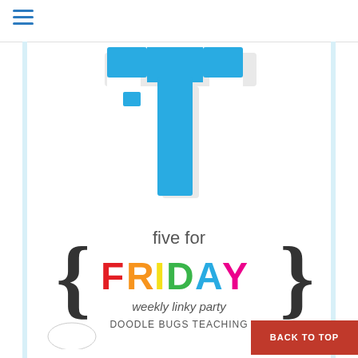[Figure (logo): Hamburger menu icon (three horizontal blue lines) in top-left corner of page header]
[Figure (logo): Large blue pixel/block-style letter T logo centered in the upper content area]
[Figure (logo): Five for Friday weekly linky party logo by Doodle Bugs Teaching, featuring colorful letters F-R-I-D-A-Y in red, orange, yellow, green, blue, and magenta, inside curly braces, with 'five for' in gray above and 'weekly linky party' and 'Doodle Bugs Teaching' below]
BACK TO TOP